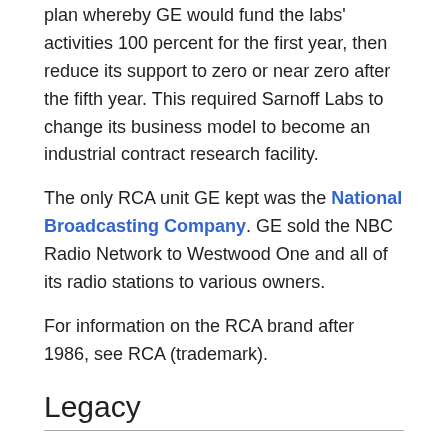plan whereby GE would fund the labs' activities 100 percent for the first year, then reduce its support to zero or near zero after the fifth year. This required Sarnoff Labs to change its business model to become an industrial contract research facility.
The only RCA unit GE kept was the National Broadcasting Company. GE sold the NBC Radio Network to Westwood One and all of its radio stations to various owners.
For information on the RCA brand after 1986, see RCA (trademark).
Legacy
RCA antique radios and RCA Merrill/CT-100s and other early color television receivers are among the more sought-after collectible radios and televisions, thanks to their popularity during the golden age of radio, their manufacturing quality, their engineering innovations, their styling and their name, RCA.